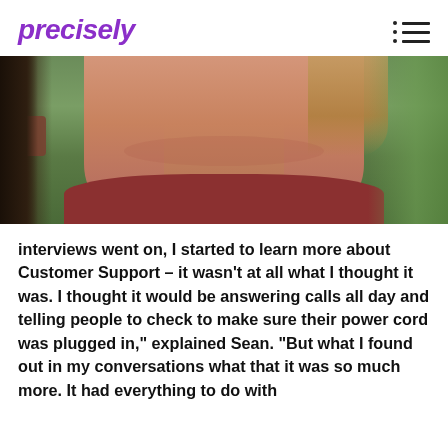precisely
[Figure (photo): Cropped photo of a young man's face and neck, showing chin and lower face with reddish complexion, wearing a red/maroon shirt, with green foliage in background. A woman's glasses are partially visible on the left edge.]
interviews went on, I started to learn more about Customer Support – it wasn't at all what I thought it was. I thought it would be answering calls all day and telling people to check to make sure their power cord was plugged in," explained Sean. "But what I found out in my conversations what that it was so much more. It had everything to do with